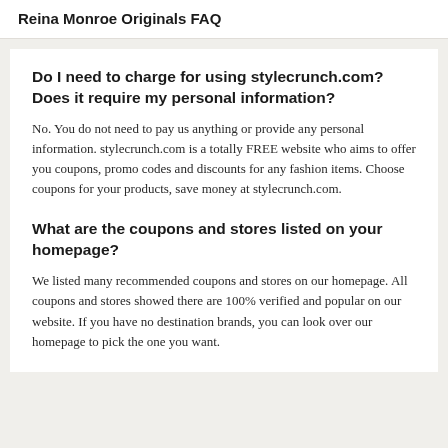Reina Monroe Originals FAQ
Do I need to charge for using stylecrunch.com? Does it require my personal information?
No. You do not need to pay us anything or provide any personal information. stylecrunch.com is a totally FREE website who aims to offer you coupons, promo codes and discounts for any fashion items. Choose coupons for your products, save money at stylecrunch.com.
What are the coupons and stores listed on your homepage?
We listed many recommended coupons and stores on our homepage. All coupons and stores showed there are 100% verified and popular on our website. If you have no destination brands, you can look over our homepage to pick the one you want.